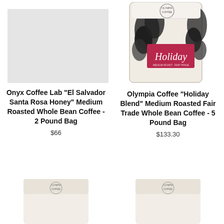[Figure (photo): Light gray placeholder image rectangle for Onyx Coffee Lab product]
[Figure (photo): Olympia Coffee Holiday Blend coffee bag with black botanical print and red Holiday label, white packaging, partially visible]
Onyx Coffee Lab "El Salvador Santa Rosa Honey" Medium Roasted Whole Bean Coffee - 2 Pound Bag
$66
Olympia Coffee "Holiday Blend" Medium Roasted Fair Trade Whole Bean Coffee - 5 Pound Bag
$133.30
[Figure (photo): Olympia Coffee white/cream colored coffee bag, partially visible at bottom of page]
[Figure (photo): Olympia Coffee white/cream colored coffee bag, partially visible at bottom of page]